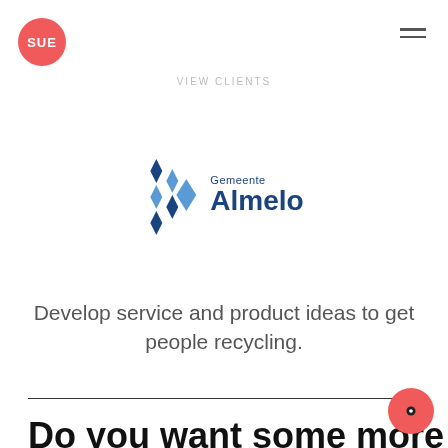[Figure (logo): SUE circular red logo with white text 'SUE']
VIEW CLIENTS
[Figure (logo): Gemeente Almelo logo with blue diamond shapes and text 'Gemeente Almelo']
Develop service and product ideas to get people recycling.
Do you want some more